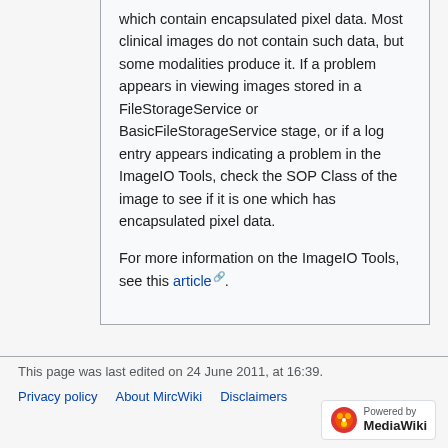which contain encapsulated pixel data. Most clinical images do not contain such data, but some modalities produce it. If a problem appears in viewing images stored in a FileStorageService or BasicFileStorageService stage, or if a log entry appears indicating a problem in the ImageIO Tools, check the SOP Class of the image to see if it is one which has encapsulated pixel data.
For more information on the ImageIO Tools, see this article.
This page was last edited on 24 June 2011, at 16:39.
Privacy policy   About MircWiki   Disclaimers
[Figure (logo): Powered by MediaWiki logo badge]